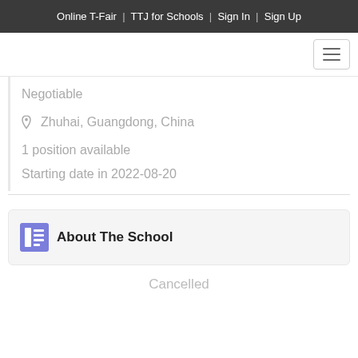Online T-Fair | TTJ for Schools | Sign In | Sign Up
Negotiable
Zhuhai, Guangdong, China
1 position available
Starting date in 2022-08-20
About The School
Cancelled